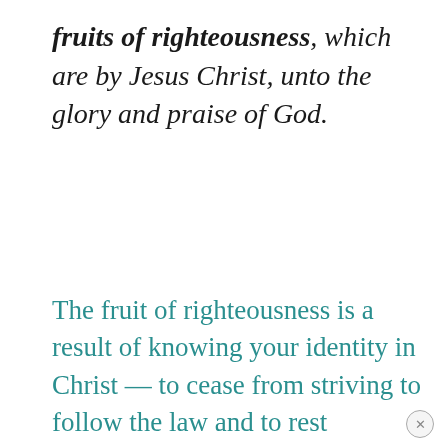fruits of righteousness, which are by Jesus Christ, unto the glory and praise of God.
The fruit of righteousness is a result of knowing your identity in Christ — to cease from striving to follow the law and to rest completely in the righteousness of Christ.